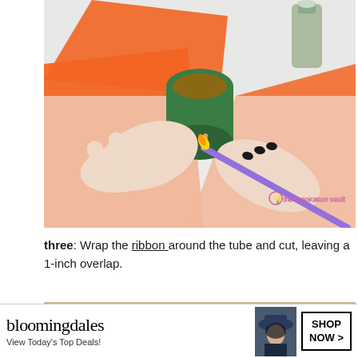[Figure (photo): Hands painting or applying glue to a green-painted cardboard tube. Orange ribbon/tissue paper visible in background. Purple paintbrush held in right hand. A bottle of green paint is visible in the upper right. Watermark reads 'the inspiration vault' in pink.]
three: Wrap the ribbon around the tube and cut, leaving a 1-inch overlap.
[Figure (photo): Partial photo of hands working on a craft project, bottom partially obscured by advertisement banner.]
CLOSE
[Figure (other): Bloomingdale's advertisement banner. Shows bloomingdales logo, text 'View Today's Top Deals!', image of woman in hat, and 'SHOP NOW >' button.]